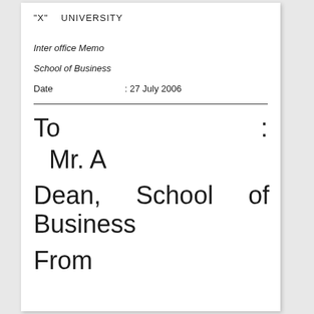"X"    UNIVERSITY
Inter office Memo
School of Business
Date                                    : 27 July 2006
To                                                        :
Mr. A
Dean,       School       of Business
From